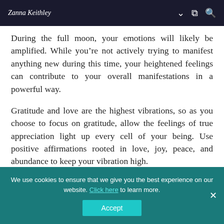Zanna Keithley
During the full moon, your emotions will likely be amplified. While you’re not actively trying to manifest anything new during this time, your heightened feelings can contribute to your overall manifestations in a powerful way.
Gratitude and love are the highest vibrations, so as you choose to focus on gratitude, allow the feelings of true appreciation light up every cell of your being. Use positive affirmations rooted in love, joy, peace, and abundance to keep your vibration high.
During this time...
We use cookies to ensure that we give you the best experience on our website. Click here to learn more.
Accept